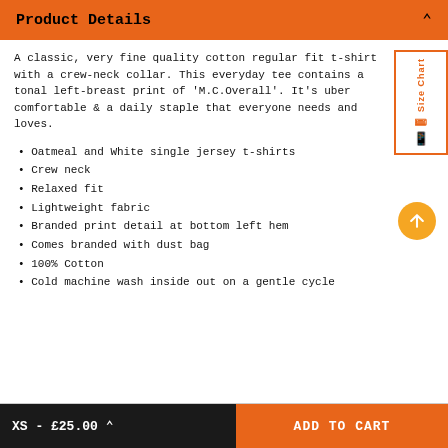Product Details
A classic, very fine quality cotton regular fit t-shirt with a crew-neck collar. This everyday tee contains a tonal left-breast print of 'M.C.Overall'. It's uber comfortable & a daily staple that everyone needs and loves.
Oatmeal and White single jersey t-shirts
Crew neck
Relaxed fit
Lightweight fabric
Branded print detail at bottom left hem
Comes branded with dust bag
100% Cotton
Cold machine wash inside out on a gentle cycle
XS - £25.00 ADD TO CART